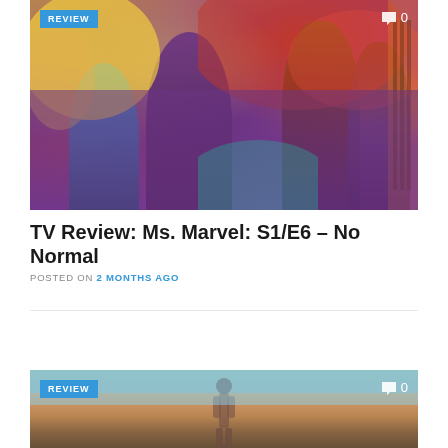[Figure (photo): Ms. Marvel show poster with colorful illustrated background featuring multiple characters including a young woman in a headscarf, a bearded man with glasses, and other cast members against a vibrant psychedelic backdrop]
TV Review: Ms. Marvel: S1/E6 – No Normal
POSTED ON 2 MONTHS AGO
[Figure (photo): Partial view of another show/movie review card showing a desert landscape scene with a figure]